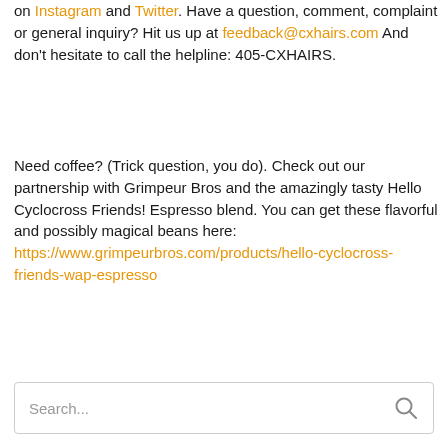on Instagram and Twitter. Have a question, comment, complaint or general inquiry? Hit us up at feedback@cxhairs.com And don't hesitate to call the helpline: 405-CXHAIRS.
Need coffee? (Trick question, you do). Check out our partnership with Grimpeur Bros and the amazingly tasty Hello Cyclocross Friends! Espresso blend. You can get these flavorful and possibly magical beans here: https://www.grimpeurbros.com/products/hello-cyclocross-friends-wap-espresso